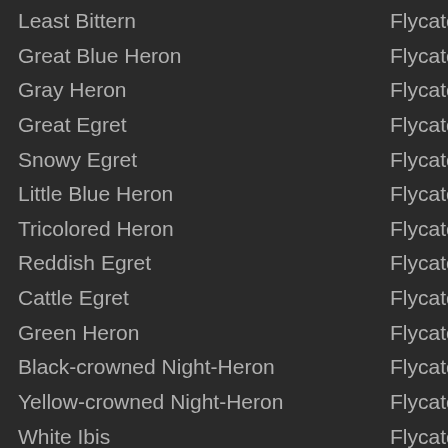Least Bittern
Great Blue Heron
Gray Heron
Great Egret
Snowy Egret
Little Blue Heron
Tricolored Heron
Reddish Egret
Cattle Egret
Green Heron
Black-crowned Night-Heron
Yellow-crowned Night-Heron
White Ibis
Glossy Ibis
White-faced Ibis
Roseate Spoonbill
Flycatche
Flycatche
Flycatche
Flycatche
Flycatche
Flycatche
Flycatche
Flycatche
Flycatche
Flycatche
Flycatche
Flycatche
Flycatche
Flycatche
Flycatche
Flycatche